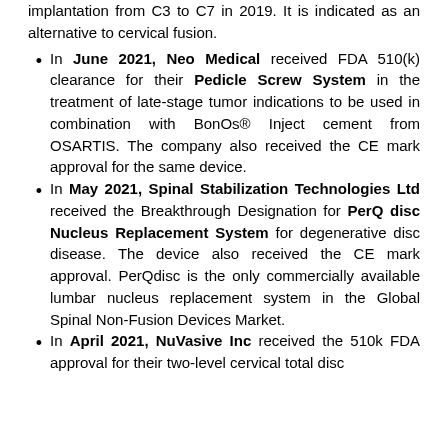implantation from C3 to C7 in 2019. It is indicated as an alternative to cervical fusion.
In June 2021, Neo Medical received FDA 510(k) clearance for their Pedicle Screw System in the treatment of late-stage tumor indications to be used in combination with BonOs® Inject cement from OSARTIS. The company also received the CE mark approval for the same device.
In May 2021, Spinal Stabilization Technologies Ltd received the Breakthrough Designation for PerQ disc Nucleus Replacement System for degenerative disc disease. The device also received the CE mark approval. PerQdisc is the only commercially available lumbar nucleus replacement system in the Global Spinal Non-Fusion Devices Market.
In April 2021, NuVasive Inc received the 510k FDA approval for their two-level cervical total disc